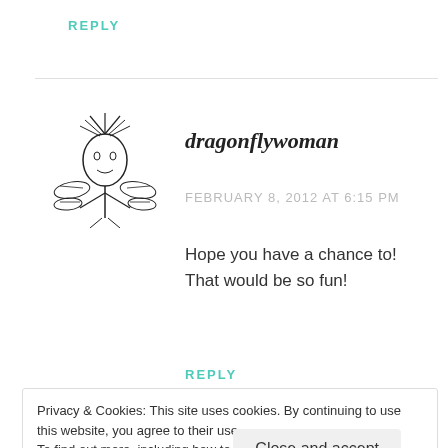REPLY
[Figure (illustration): Hand-drawn illustration of a dragonfly woman figure with dragonfly wings]
dragonflywoman
FEBRUARY 8, 2012 AT 6:15 PM
Hope you have a chance to! That would be so fun!
REPLY
Privacy & Cookies: This site uses cookies. By continuing to use this website, you agree to their use.
To find out more, including how to control cookies, see here: Cookie Policy
Close and accept